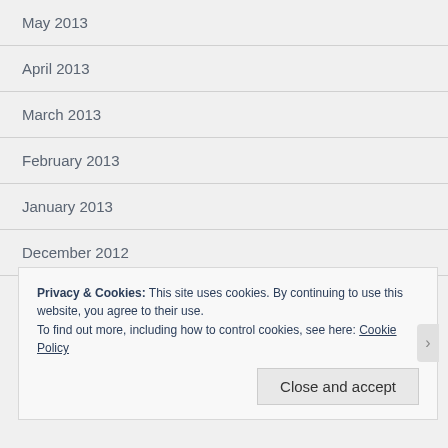May 2013
April 2013
March 2013
February 2013
January 2013
December 2012
November 2012
Privacy & Cookies: This site uses cookies. By continuing to use this website, you agree to their use.
To find out more, including how to control cookies, see here: Cookie Policy
Close and accept